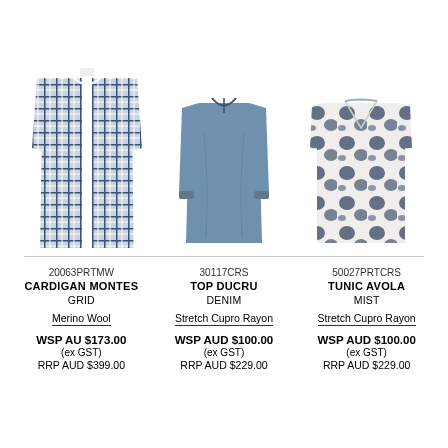[Figure (photo): Cardigan Montes in Grid plaid pattern - long open-front cardigan in navy/white check]
[Figure (photo): Top Ducru in Denim - long sleeve loose blouse with tie neck in dusty blue]
[Figure (photo): Tunic Avola in Mist - short sleeve v-neck tunic with navy ink/cloud print on white]
20063PRTMW
CARDIGAN MONTES
GRID
Merino Wool
WSP AU $173.00
(ex GST)
RRP AUD $399.00
30117CRS
TOP DUCRU
DENIM
Stretch Cupro Rayon
WSP AUD $100.00
(ex GST)
RRP AUD $229.00
50027PRTCRS
TUNIC AVOLA
MIST
Stretch Cupro Rayon
WSP AUD $100.00
(ex GST)
RRP AUD $229.00